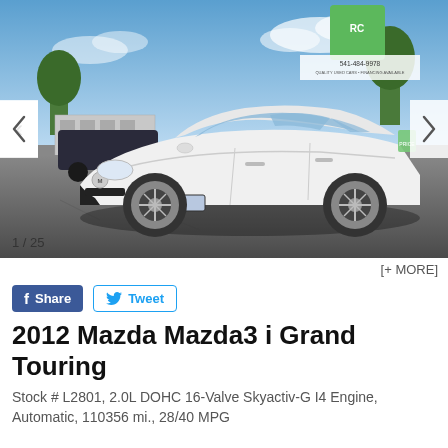[Figure (photo): White 2012 Mazda Mazda3 sedan parked in a car lot, taken from front-left angle. Navigation arrows on left and right sides of the photo. Photo counter '1 / 25' at bottom left.]
[+ MORE]
Share  Tweet
2012 Mazda Mazda3 i Grand Touring
Stock # L2801, 2.0L DOHC 16-Valve Skyactiv-G I4 Engine, Automatic, 110356 mi., 28/40 MPG